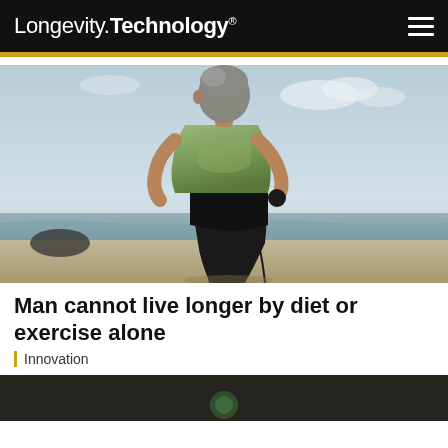Longevity.Technology®
[Figure (photo): Middle-aged man running on a beach viewed from behind, wearing a green shirt and dark shorts, ocean and sky in background]
Man cannot live longer by diet or exercise alone
Innovation
[Figure (photo): Partial view of another image at the bottom of the page, dark toned]